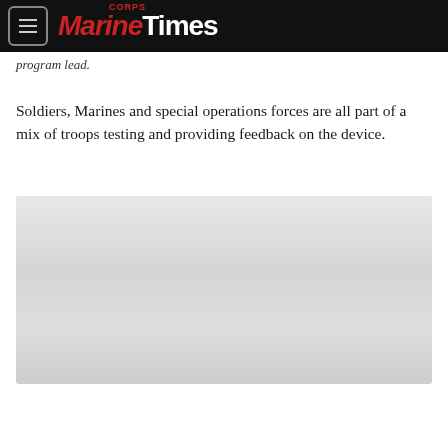Marine Corps Times
program lead.
Soldiers, Marines and special operations forces are all part of a mix of troops testing and providing feedback on the device.
[Figure (photo): Image placeholder — light gray gradient rectangle representing a photo or advertisement]